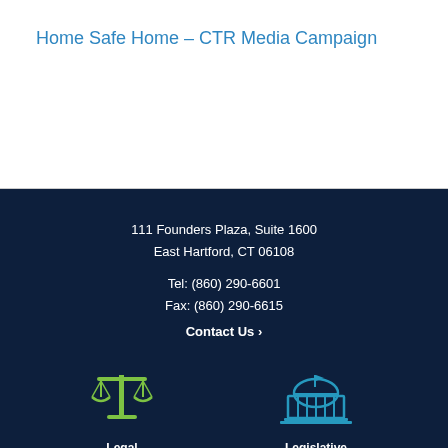Home Safe Home – CTR Media Campaign
111 Founders Plaza, Suite 1600
East Hartford, CT 06108
Tel: (860) 290-6601
Fax: (860) 290-6615
Contact Us ›
[Figure (illustration): Green scales of justice icon]
Legal
[Figure (illustration): Teal capitol building / legislative icon]
Legislative Issues